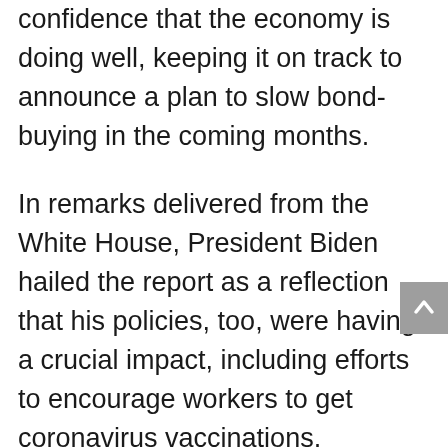confidence that the economy is doing well, keeping it on track to announce a plan to slow bond-buying in the coming months.
In remarks delivered from the White House, President Biden hailed the report as a reflection that his policies, too, were having a crucial impact, including efforts to encourage workers to get coronavirus vaccinations.
“Doubtlessly we’ll have ups and downs along the way as we continue to battle the Delta surge of Covid,” Mr. Biden said. “What is indisputable now is this: The Biden plan is working, the Biden plan